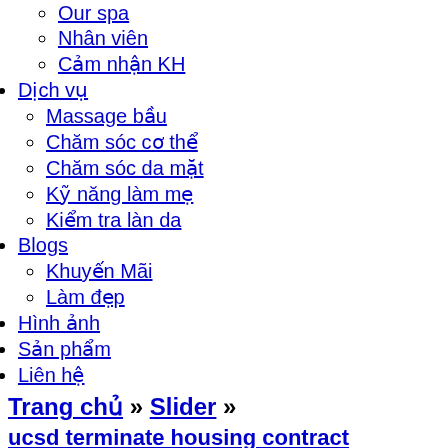Our spa
Nhân viên
Cảm nhận KH
Dịch vụ
Massage bầu
Chăm sóc cơ thể
Chăm sóc da mặt
Kỹ năng làm mẹ
Kiểm tra làn da
Blogs
Khuyến Mãi
Làm đẹp
Hình ảnh
Sản phẩm
Liên hệ
Trang chủ » Slider »
ucsd terminate housing contract
có
0 Bình luận
5. Hey y'all. • How does violating the Community Standards